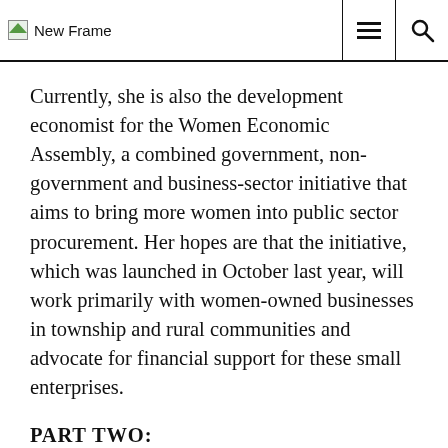New Frame
Currently, she is also the development economist for the Women Economic Assembly, a combined government, non-government and business-sector initiative that aims to bring more women into public sector procurement. Her hopes are that the initiative, which was launched in October last year, will work primarily with women-owned businesses in township and rural communities and advocate for financial support for these small enterprises.
PART TWO: